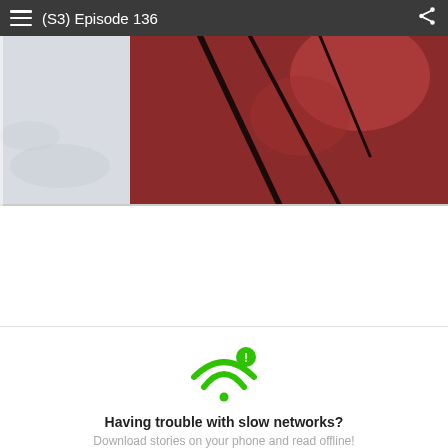(S3) Episode 136
[Figure (illustration): Manga/webtoon comic panel showing a large dark red armored figure against a light sky background with dark linework]
[Figure (infographic): Green WiFi icon with exclamation mark indicating network error]
Having trouble with slow networks?
Download stories on your phone and read offline!
Go to the WEBTOON app